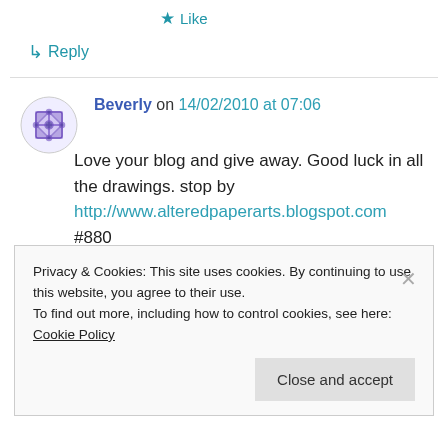★ Like
↳ Reply
Beverly on 14/02/2010 at 07:06
Love your blog and give away. Good luck in all the drawings. stop by http://www.alteredpaperarts.blogspot.com #880
★ Like
Privacy & Cookies: This site uses cookies. By continuing to use this website, you agree to their use. To find out more, including how to control cookies, see here: Cookie Policy
Close and accept